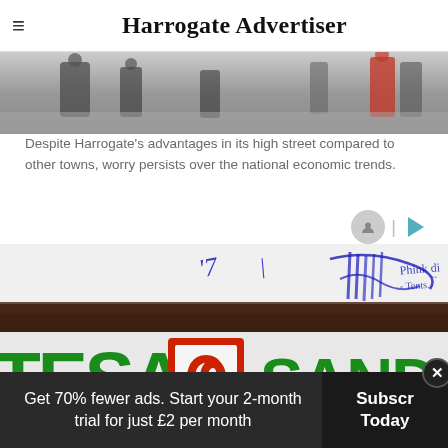Harrogate Advertiser
[Figure (photo): Street scene photo showing people walking, partial crop of high street]
Despite Harrogate's advantages in its high street compared to other towns, worry persists over the national economic trends.
[Figure (photo): Close-up photo of a Santander bank branch sign showing green lettering 'TESA' and 'SAND' with the Santander logo and handwritten scribble visible at top]
Get 70% fewer ads. Start your 2-month trial for just £2 per month
Subscr Today